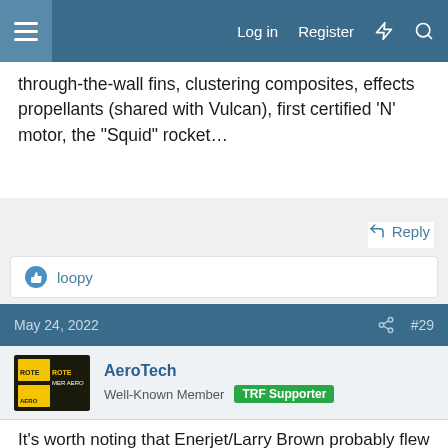Log in   Register
through-the-wall fins, clustering composites, effects propellants (shared with Vulcan), first certified ‘N’ motor, the “Squid” rocket…
Reply
loopy
May 24, 2022   #29
AeroTech
Well-Known Member  TRF Supporter
It’s worth noting that Enerjet/Larry Brown probably flew the first "high-power" rocket (an Enerjet 2250 with 3 x F67-14 motors) as a public demo at NARAM-14 in Seattle, WA in 1972. Total impulse was about 240 N-sec.